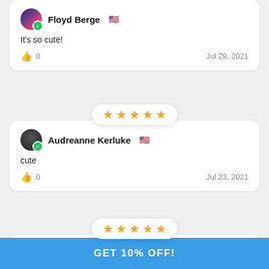Floyd Berge 🇺🇸
It's so cute!
👍 0   Jul 29, 2021
[Figure (other): 5 gold stars rating badge]
Audreanne Kerluke 🇺🇸
cute
👍 0   Jul 23, 2021
[Figure (other): 5 gold stars rating badge]
Rudolph Feeney 🇺🇸
so cute, came in like 2 weeks
👍 0   Jun 27, 2021
GET 10% OFF!